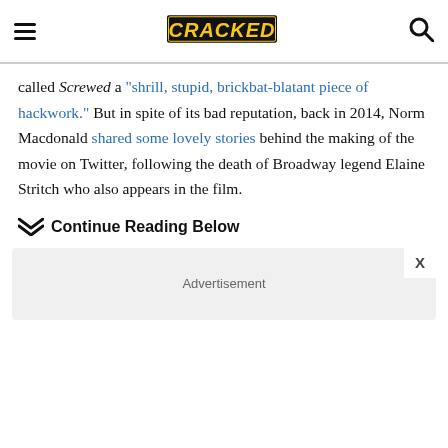CRACKED [logo with hamburger menu and search icon]
called Screwed a "shrill, stupid, brickbat-blatant piece of hackwork." But in spite of its bad reputation, back in 2014, Norm Macdonald shared some lovely stories behind the making of the movie on Twitter, following the death of Broadway legend Elaine Stritch who also appears in the film.
❯❯ Continue Reading Below
[Figure (other): Advertisement banner placeholder with close button X]